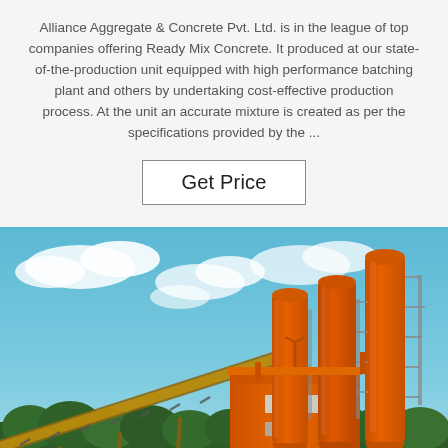Alliance Aggregate & Concrete Pvt. Ltd. is in the league of top companies offering Ready Mix Concrete. It produced at our state-of-the-production unit equipped with high performance batching plant and others by undertaking cost-effective production process. At the unit an accurate mixture is created as per the specifications provided by the ...
Get Price
[Figure (photo): Photograph of an orange concrete batching plant with silos and a conveyor belt against a partly cloudy blue sky, with green trees in the background.]